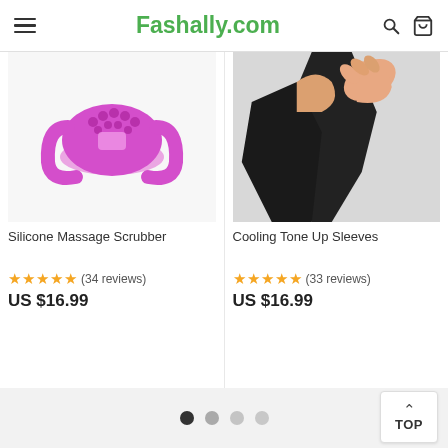Fashally.com
[Figure (photo): Purple silicone massage scrubber product photo on white background]
Silicone Massage Scrubber
★★★★★ (34 reviews)
US $16.99
[Figure (photo): Model wearing black cooling tone up sleeves on arms, light grey background]
Cooling Tone Up Sleeves
★★★★★ (33 reviews)
US $16.99